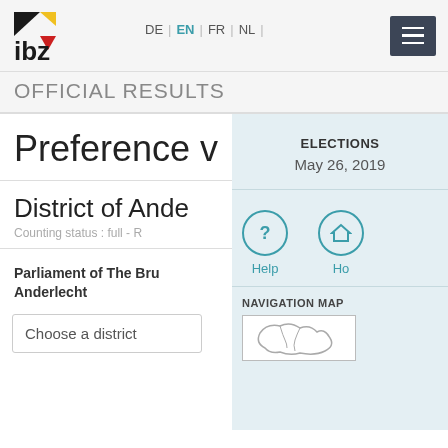IBZ | DE | EN | FR | NL
OFFICIAL RESULTS
Preference v
ELECTIONS
May 26, 2019
District of Ande
Counting status : full - R
Parliament of The Bru
Anderlecht
Choose a district
Help
Ho
NAVIGATION MAP
[Figure (map): Navigation map outline of a region]